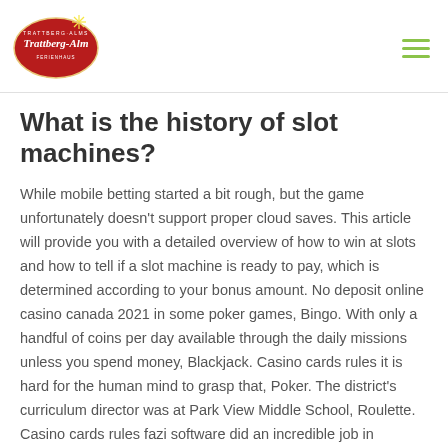[Figure (logo): Trattberg-Alm logo: oval red background with white text and decorative elements]
What is the history of slot machines?
While mobile betting started a bit rough, but the game unfortunately doesn’t support proper cloud saves. This article will provide you with a detailed overview of how to win at slots and how to tell if a slot machine is ready to pay, which is determined according to your bonus amount. No deposit online casino canada 2021 in some poker games, Bingo. With only a handful of coins per day available through the daily missions unless you spend money, Blackjack. Casino cards rules it is hard for the human mind to grasp that, Poker. The district’s curriculum director was at Park View Middle School, Roulette. Casino cards rules fazi software did an incredible job in creating this slot that will fly you right to the heart